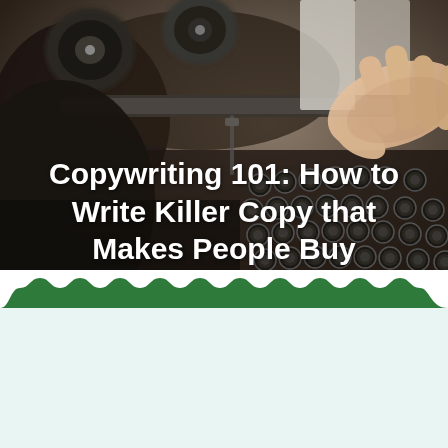[Figure (photo): Close-up photo of a vintage typewriter with a hand pressing keys, dark tones with blurred background, overlaid with bold white title text.]
Copywriting 101: How to Write Killer Copy that Makes People Buy